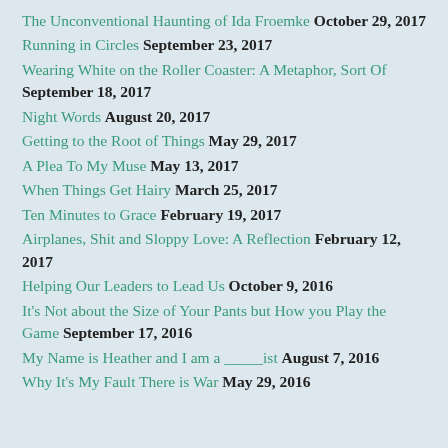The Unconventional Haunting of Ida Froemke October 29, 2017
Running in Circles September 23, 2017
Wearing White on the Roller Coaster: A Metaphor, Sort Of September 18, 2017
Night Words August 20, 2017
Getting to the Root of Things May 29, 2017
A Plea To My Muse May 13, 2017
When Things Get Hairy March 25, 2017
Ten Minutes to Grace February 19, 2017
Airplanes, Shit and Sloppy Love: A Reflection February 12, 2017
Helping Our Leaders to Lead Us October 9, 2016
It's Not about the Size of Your Pants but How you Play the Game September 17, 2016
My Name is Heather and I am a _____ist August 7, 2016
Why It's My Fault There is War May 29, 2016